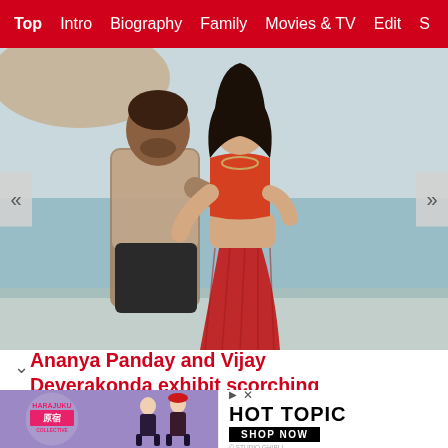Top  Intro  Biography  Family  Movies & TV  Edit  S
[Figure (photo): A couple standing together near a beach scene. A man in a patterned short-sleeve shirt and dark pants stands behind a woman in a red/orange halter top and red pleated skirt. They are close together in a romantic pose.]
Ananya Panday and Vijay Deverakonda exhibit scorching chemistry in Liger's Aafat song.
[Figure (other): Advertisement banner featuring Harajuku Collective logo on the left with two figures in gothic/anime style outfits, and Hot Topic logo with 'SHOP NOW' button on the right, with Studio Ghibli credit at bottom.]